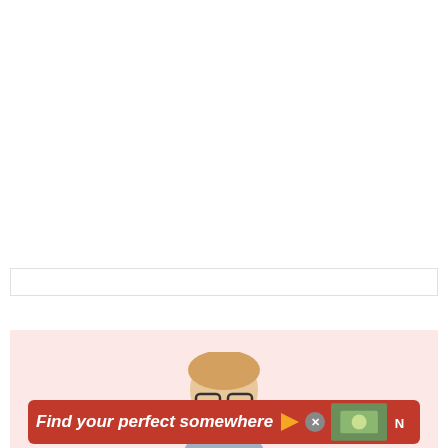[Figure (other): White blank area at the top of the page, approximately 268px tall]
[Figure (other): Thin light-gray bordered rectangle below white area]
[Figure (other): Pink/rose background section with a partial photo of a person wearing glasses, an orange scroll-to-top button on the right, and an advertisement banner at the bottom reading 'Find your perfect somewhere']